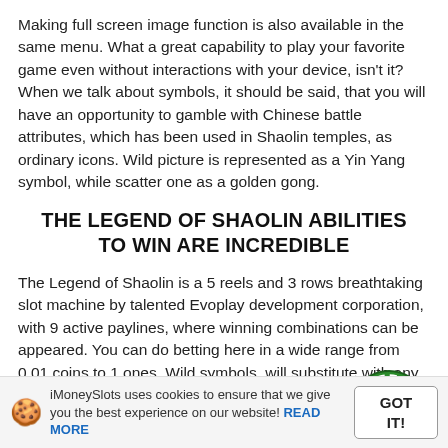Making full screen image function is also available in the same menu. What a great capability to play your favorite game even without interactions with your device, isn't it? When we talk about symbols, it should be said, that you will have an opportunity to gamble with Chinese battle attributes, which has been used in Shaolin temples, as ordinary icons. Wild picture is represented as a Yin Yang symbol, while scatter one as a golden gong.
THE LEGEND OF SHAOLIN ABILITIES TO WIN ARE INCREDIBLE
The Legend of Shaolin is a 5 reels and 3 rows breathtaking slot machine by talented Evoplay development corporation, with 9 active paylines, where winning combinations can be appeared. You can do betting here in a wide range from 0.01 coins to 1 ones. Wild symbols, will substitute with any other icons, to complement winning combinations and make them more valuable. An extremely interesting way of claiming free spins and additional multipliers is realized here. Everything will go around a
[Figure (illustration): Green poker chip with red arrow/chevron design]
iMoneySlots uses cookies to ensure that we give you the best experience on our website! READ MORE
GOT IT!